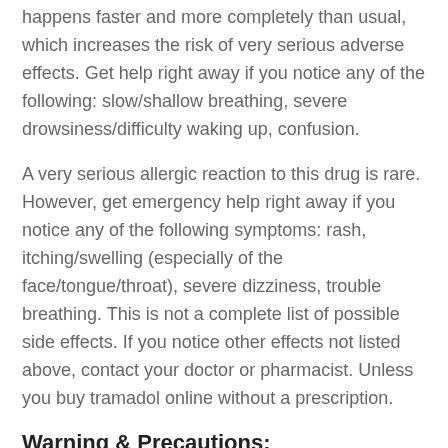happens faster and more completely than usual, which increases the risk of very serious adverse effects. Get help right away if you notice any of the following: slow/shallow breathing, severe drowsiness/difficulty waking up, confusion.
A very serious allergic reaction to this drug is rare. However, get emergency help right away if you notice any of the following symptoms: rash, itching/swelling (especially of the face/tongue/throat), severe dizziness, trouble breathing. This is not a complete list of possible side effects. If you notice other effects not listed above, contact your doctor or pharmacist. Unless you buy tramadol online without a prescription.
Warning & Precautions;
Before taking tramadol, inform your medical